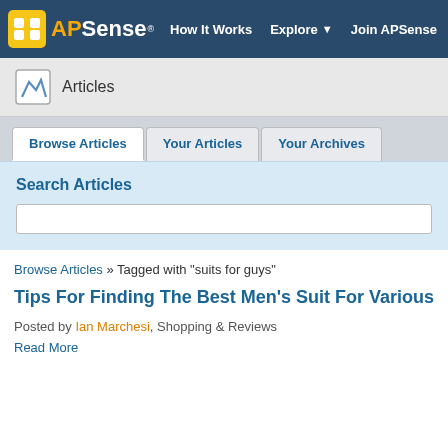APSense — How It Works  Explore  Join APSense
Articles
Browse Articles | Your Articles | Your Archives
Search Articles
Browse Articles » Tagged with "suits for guys"
Tips For Finding The Best Men's Suit For Various Occasions And
Posted by Ian Marchesi, Shopping & Reviews
Read More